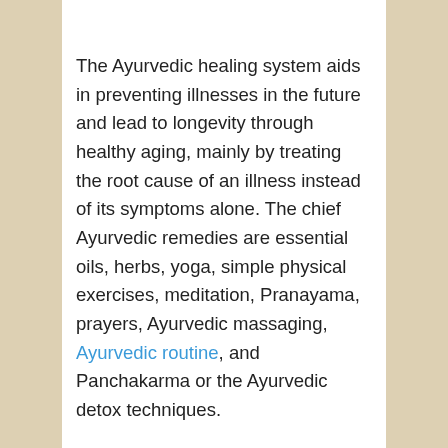The Ayurvedic healing system aids in preventing illnesses in the future and lead to longevity through healthy aging, mainly by treating the root cause of an illness instead of its symptoms alone. The chief Ayurvedic remedies are essential oils, herbs, yoga, simple physical exercises, meditation, Pranayama, prayers, Ayurvedic massaging, Ayurvedic routine, and Panchakarma or the Ayurvedic detox techniques.